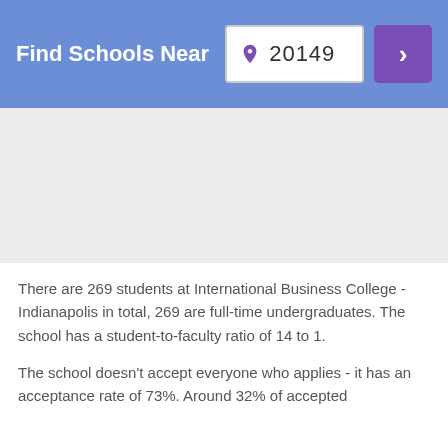Find Schools Near 20149
[Figure (other): Advertisement placeholder area with light gray background]
There are 269 students at International Business College - Indianapolis in total, 269 are full-time undergraduates. The school has a student-to-faculty ratio of 14 to 1.
The school doesn't accept everyone who applies - it has an acceptance rate of 73%. Around 32% of accepted